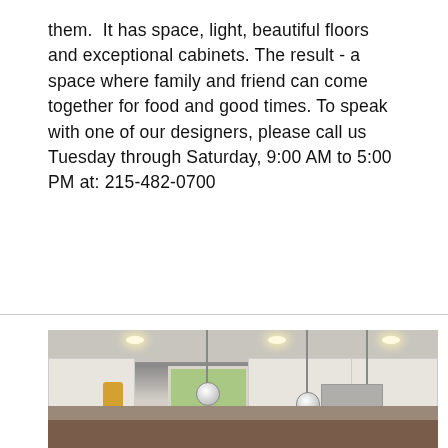them.  It has space, light, beautiful floors and exceptional cabinets. The result - a space where family and friend can come together for food and good times. To speak with one of our designers, please call us Tuesday through Saturday, 9:00 AM to 5:00 PM at: 215-482-0700
READ MORE
[Figure (photo): Interior photo of a modern kitchen with white upper cabinets, pendant globe lights hanging from the ceiling, recessed lighting, a brick-style backsplash, stainless steel range hood, and a window with green foliage visible outside.]